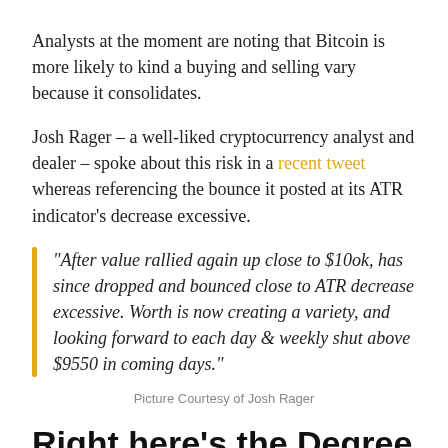Analysts at the moment are noting that Bitcoin is more likely to kind a buying and selling vary because it consolidates.
Josh Rager – a well-liked cryptocurrency analyst and dealer – spoke about this risk in a recent tweet whereas referencing the bounce it posted at its ATR indicator's decrease excessive.
“After value rallied again up close to $10ok, has since dropped and bounced close to ATR decrease excessive. Worth is now creating a variety, and looking forward to each day & weekly shut above $9550 in coming days.”
Picture Courtesy of Josh Rager
Right here’s the Degree Patrons